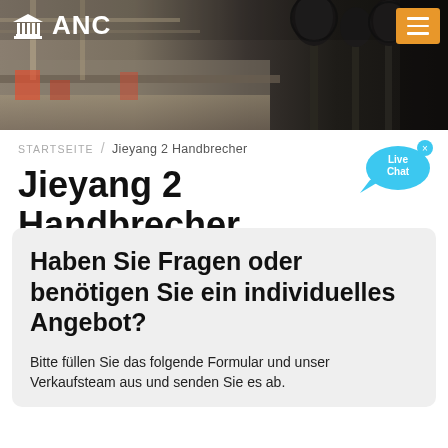[Figure (photo): Industrial/factory hall background photo with microphones in foreground, used as website header banner]
ANC
STARTSEITE / Jieyang 2 Handbrecher
Jieyang 2 Handbrecher
Haben Sie Fragen oder benötigen Sie ein individuelles Angebot?
Bitte füllen Sie das folgende Formular und unser Verkaufsteam aus und senden Sie es ab.